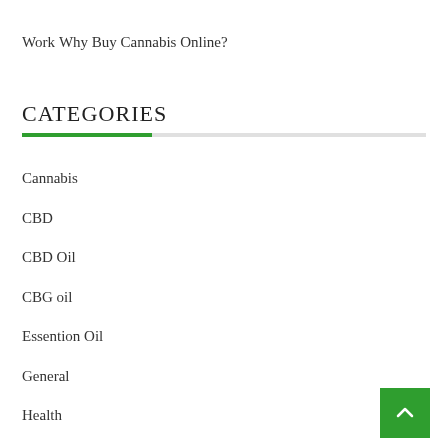Work
Why Buy Cannabis Online?
CATEGORIES
Cannabis
CBD
CBD Oil
CBG oil
Essention Oil
General
Health
Hemp